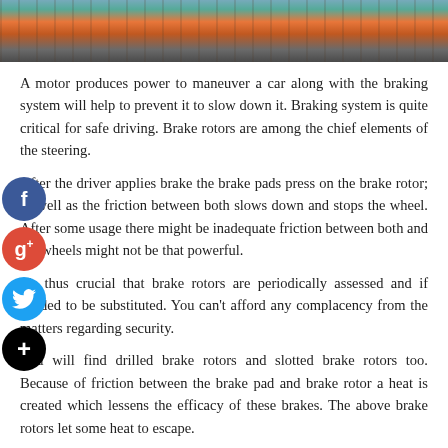[Figure (photo): Partial photo strip at the top showing a mechanic or person near vehicles, cropped at the top of the page.]
A motor produces power to maneuver a car along with the braking system will help to prevent it to slow down it. Braking system is quite critical for safe driving. Brake rotors are among the chief elements of the steering.
After the driver applies brake the brake pads press on the brake rotor; as well as the friction between both slows down and stops the wheel. After some usage there might be inadequate friction between both and the wheels might not be that powerful.
It's thus crucial that brake rotors are periodically assessed and if needed to be substituted. You can't afford any complacency from the matters regarding security.
You will find drilled brake rotors and slotted brake rotors too. Because of friction between the brake pad and brake rotor a heat is created which lessens the efficacy of these brakes. The above brake rotors let some heat to escape.